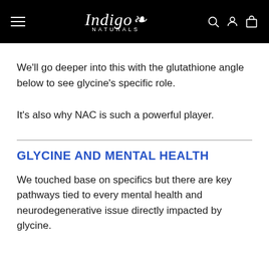Indigo Naturals
We'll go deeper into this with the glutathione angle below to see glycine's specific role.
It's also why NAC is such a powerful player.
GLYCINE AND MENTAL HEALTH
We touched base on specifics but there are key pathways tied to every mental health and neurodegenerative issue directly impacted by glycine.